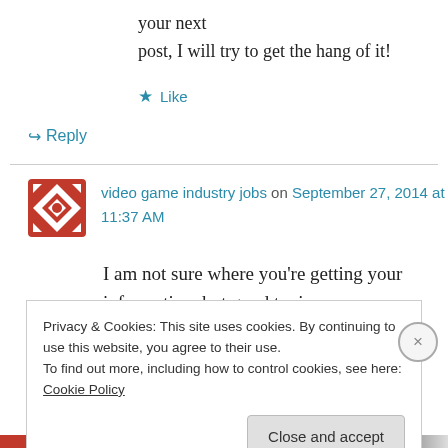your next post, I will try to get the hang of it!
★ Like
↪ Reply
video game industry jobs on September 27, 2014 at 11:37 AM
I am not sure where you're getting your information, but good topic.
Privacy & Cookies: This site uses cookies. By continuing to use this website, you agree to their use.
To find out more, including how to control cookies, see here: Cookie Policy
Close and accept